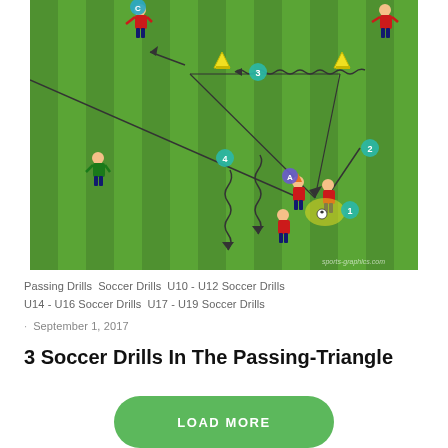[Figure (illustration): Soccer passing-triangle drill diagram on a green striped field. Shows players in red jerseys, a green jersey player, numbered teal circles (1,2,3,4), letter circles (A, C), yellow cones, arrows and wavy lines indicating player movement and ball passes, and a yellow highlight circle near player 1 in the center.]
Passing Drills   Soccer Drills   U10 - U12 Soccer Drills   U14 - U16 Soccer Drills   U17 - U19 Soccer Drills
· September 1, 2017
3 Soccer Drills In The Passing-Triangle
LOAD MORE